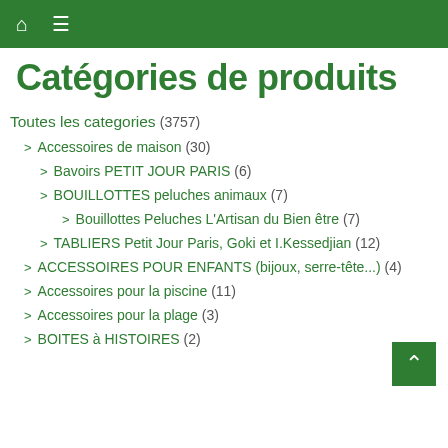🏠 ☰
Catégories de produits
Toutes les categories (3757)
> Accessoires de maison (30)
> Bavoirs PETIT JOUR PARIS (6)
> BOUILLOTTES peluches animaux (7)
> Bouillottes Peluches L'Artisan du Bien être (7)
> TABLIERS Petit Jour Paris, Goki et I.Kessedjian (12)
> ACCESSOIRES POUR ENFANTS (bijoux, serre-tête...) (4)
> Accessoires pour la piscine (11)
> Accessoires pour la plage (3)
> BOITES à HISTOIRES (2)